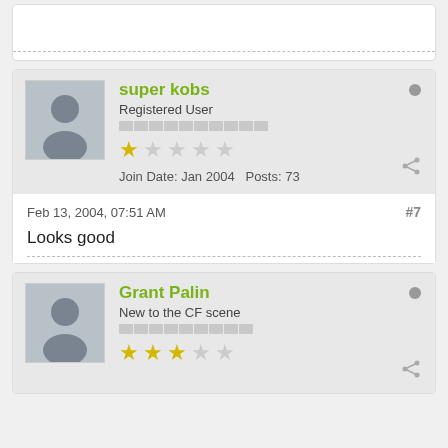Looks good (partial top card ending)
super kobs
Registered User
Join Date: Jan 2004  Posts: 73
Feb 13, 2004, 07:51 AM  #7
Looks good
Grant Palin
New to the CF scene